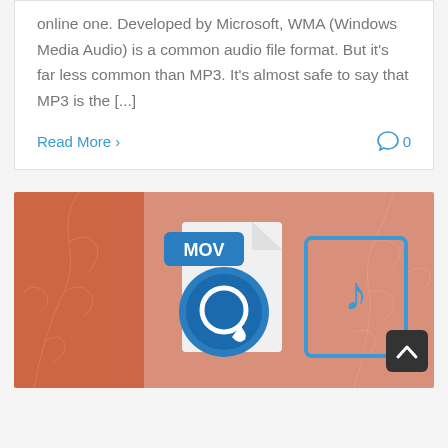online one. Developed by Microsoft, WMA (Windows Media Audio) is a common audio file format. But it's far less common than MP3. It's almost safe to say that MP3 is the [...]
Read More  0
[Figure (illustration): Decorative banner image with terracotta and dusty rose background colors, floral line art patterns. Shows a MOV file icon with a blue/white QuickTime-style converter logo on the left, and a blue MP3 file icon with a musical note on the right. A dark back-to-top button with an upward chevron arrow is overlaid at the bottom right.]